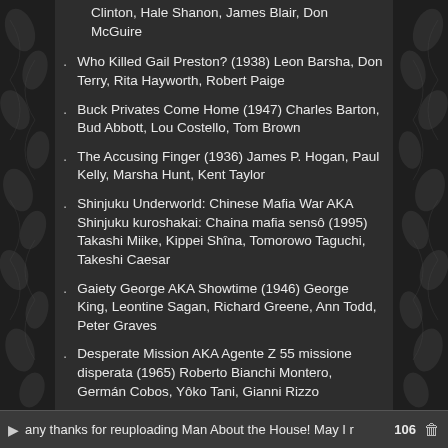Clinton, Hale Shanon, James Blair, Don McGuire
Who Killed Gail Preston? (1938) Leon Barsha, Don Terry, Rita Hayworth, Robert Paige
Buck Privates Come Home (1947) Charles Barton, Bud Abbott, Lou Costello, Tom Brown
The Accusing Finger (1936) James P. Hogan, Paul Kelly, Marsha Hunt, Kent Taylor
Shinjuku Underworld: Chinese Mafia War AKA Shinjuku kuroshakai: Chaina mafia sensô (1995) Takashi Miike, Kippei Shîna, Tomorowo Taguchi, Takeshi Caesar
Gaiety George AKA Showtime (1946) George King, Leontine Sagan, Richard Greene, Ann Todd, Peter Graves
Desperate Mission AKA Agente Z 55 missione disperata (1965) Roberto Bianchi Montero, Germán Cobos, Yôko Tani, Gianni Rizzo
any thanks for reuploading Man About the House! May I r  106